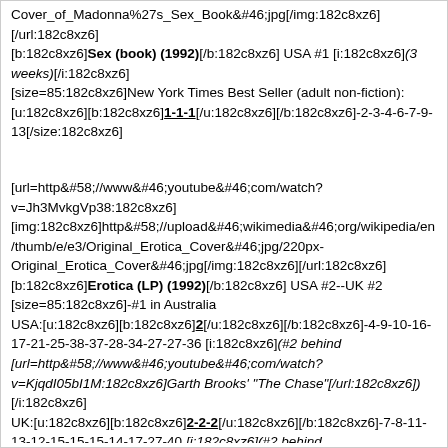Cover_of_Madonna%27s_Sex_Book&#46;jpg[/img:182c8xz6]
[/url:182c8xz6]
[b:182c8xz6]Sex (book) (1992)[/b:182c8xz6] USA #1 [i:182c8xz6](3 weeks)[/i:182c8xz6]
[size=85:182c8xz6]New York Times Best Seller (adult non-fiction):
[u:182c8xz6][b:182c8xz6]1-1-1[/u:182c8xz6][/b:182c8xz6]-2-3-4-6-7-9-13[/size:182c8xz6]
[url=http&#58;//www&#46;youtube&#46;com/watch?v=Jh3MvkgVp38:182c8xz6]
[img:182c8xz6]http&#58;//upload&#46;wikimedia&#46;org/wikipedia/en/thumb/e/e3/Original_Erotica_Cover&#46;jpg/220px-Original_Erotica_Cover&#46;jpg[/img:182c8xz6][/url:182c8xz6]
[b:182c8xz6]Erotica (LP) (1992)[/b:182c8xz6] USA #2--UK #2
[size=85:182c8xz6]-#1 in Australia
USA:[u:182c8xz6][b:182c8xz6]2[/u:182c8xz6][/b:182c8xz6]-4-9-10-16-17-21-25-38-37-28-34-27-27-36 [i:182c8xz6](#2 behind [url=http&#58;//www&#46;youtube&#46;com/watch?v=KjqdI05bI1M:182c8xz6]Garth Brooks' "The Chase"[/url:182c8xz6])[/i:182c8xz6]
UK:[u:182c8xz6][b:182c8xz6]2-2-2[/u:182c8xz6][/b:182c8xz6]-7-8-11-13-12-15-15-15-14-17-27-40 [i:182c8xz6](#2 behind [url=http&#58;//www&#46;youtube&#46;com/watch?v=m7xXgIgV6DA:182c8xz6]Simple Minds' "Glittering Prize '81-'92"[/url:182c8xz6])[/i:182c8xz6]
UK (1993):34-30-28-34
-JAPAN GOLD DISC AWARD WINNER FOR BEST ALBUM OF THE YEAR-POP[/size:182c8xz6]